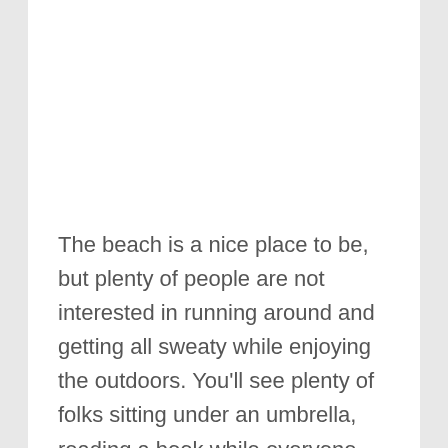The beach is a nice place to be, but plenty of people are not interested in running around and getting all sweaty while enjoying the outdoors. You'll see plenty of folks sitting under an umbrella, reading a book while everyone else gallivants around. It's a classic beach activity, true, but that